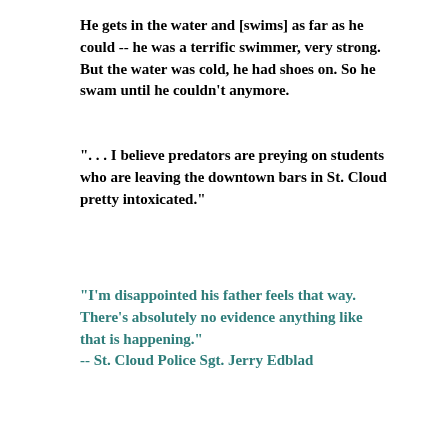He gets in the water and [swims] as far as he could -- he was a terrific swimmer, very strong. But the water was cold, he had shoes on. So he swam until he couldn't anymore.
". . . I believe predators are preying on students who are leaving the downtown bars in St. Cloud pretty intoxicated."
"I'm disappointed his father feels that way. There's absolutely no evidence anything like that is happening." -- St. Cloud Police Sgt. Jerry Edblad